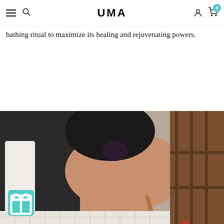UMA
bathing ritual to maximize its healing and rejuvenating powers.
READ MORE
[Figure (photo): A person in a black dress/robe leaning over a bathtub, holding a wooden bath brush, with wooden shelving visible in the background. Black and white tiled floor visible at the bottom.]